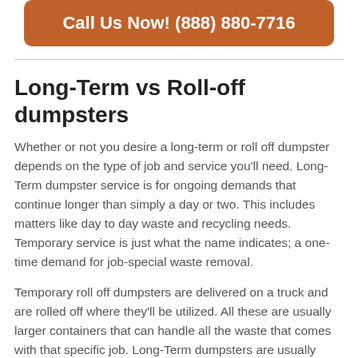[Figure (other): Orange rounded button with text 'Call Us Now! (888) 880-7716' in white bold font]
Long-Term vs Roll-off dumpsters
Whether or not you desire a long-term or roll off dumpster depends on the type of job and service you'll need. Long-Term dumpster service is for ongoing demands that continue longer than simply a day or two. This includes matters like day to day waste and recycling needs. Temporary service is just what the name indicates; a one-time demand for job-special waste removal.
Temporary roll off dumpsters are delivered on a truck and are rolled off where they'll be utilized. All these are usually larger containers that can handle all the waste that comes with that specific job. Long-Term dumpsters are usually smaller containers